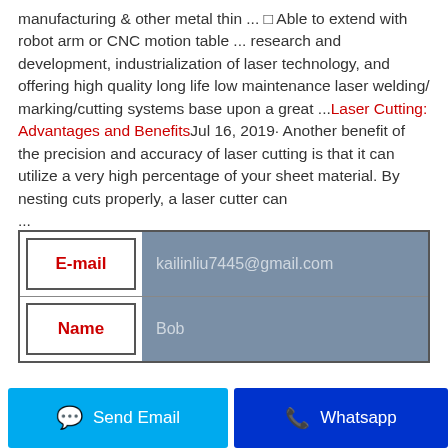manufacturing & other metal thin ... □ Able to extend with robot arm or CNC motion table ... research and development, industrialization of laser technology, and offering high quality long life low maintenance laser welding/ marking/cutting systems base upon a great ...Laser Cutting: Advantages and BenefitsJul 16, 2019· Another benefit of the precision and accuracy of laser cutting is that it can utilize a very high percentage of your sheet material. By nesting cuts properly, a laser cutter can ...
| Field | Value |
| --- | --- |
| E-mail | kailinliu7445@gmail.com |
| Name | Bob |
Send Email
Whatsapp